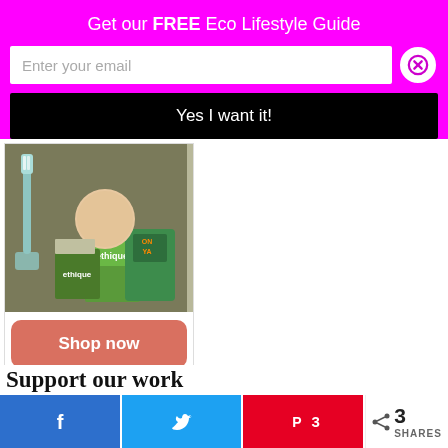Get our FREE Eco Lifestyle Guide
Enter your email
Yes I want it!
[Figure (photo): Eco-friendly products including a toothbrush, ethique branded products, a konjac sponge or bath ball, and an Onya reusable bag on a dark green cloth background]
Shop now
Support our work
3 SHARES